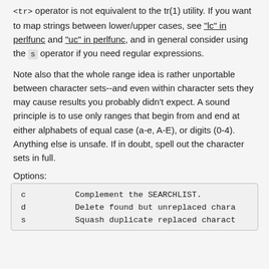<tr> operator is not equivalent to the tr(1) utility. If you want to map strings between lower/upper cases, see "lc" in perlfunc and "uc" in perlfunc, and in general consider using the s operator if you need regular expressions.
Note also that the whole range idea is rather unportable between character sets--and even within character sets they may cause results you probably didn't expect. A sound principle is to use only ranges that begin from and end at either alphabets of equal case (a-e, A-E), or digits (0-4). Anything else is unsafe. If in doubt, spell out the character sets in full.
Options:
| c | Complement the SEARCHLIST. |
| d | Delete found but unreplaced chara |
| s | Squash duplicate replaced charact |